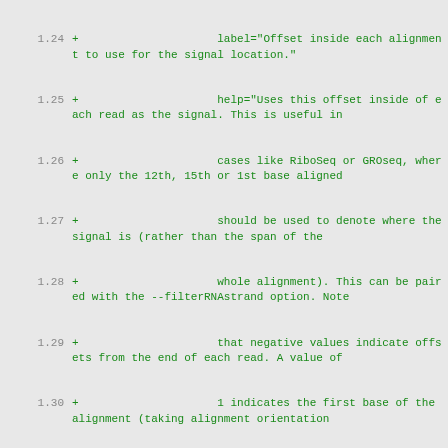1.24  +                     label="Offset inside each alignment to use for the signal location."
1.25  +                     help="Uses this offset inside of each read as the signal. This is useful in
1.26  +                     cases like RiboSeq or GROseq, where only the 12th, 15th or 1st base aligned
1.27  +                     should be used to denote where the signal is (rather than the span of the
1.28  +                     whole alignment). This can be paired with the --filterRNAstrand option. Note
1.29  +                     that negative values indicate offsets from the end of each read. A value of
1.30  +                     1 indicates the first base of the alignment (taking alignment orientation
1.31  +                     into account). Likewise, a value of -1 is the last base of the alignment. An
1.32  +                     offset of 0 is not permitted. By default, the entire alignment is used to